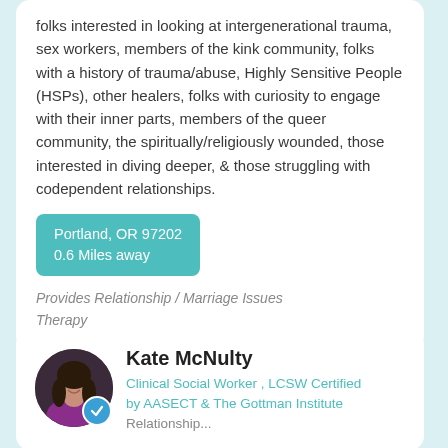folks interested in looking at intergenerational trauma, sex workers, members of the kink community, folks with a history of trauma/abuse, Highly Sensitive People (HSPs), other healers, folks with curiosity to engage with their inner parts, members of the queer community, the spiritually/religiously wounded, those interested in diving deeper, & those struggling with codependent relationships.
Portland, OR 97202
0.6 Miles away
Provides Relationship / Marriage Issues Therapy
Kate McNulty
Clinical Social Worker , LCSW Certified by AASECT & The Gottman Institute
Relationship...